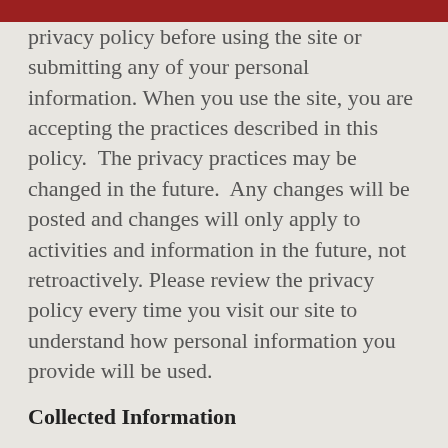privacy policy before using the site or submitting any of your personal information. When you use the site, you are accepting the practices described in this policy.  The privacy practices may be changed in the future.  Any changes will be posted and changes will only apply to activities and information in the future, not retroactively. Please review the privacy policy every time you visit our site to understand how personal information you provide will be used.
Collected Information
We collect personal information such as names, phone numbers, email addresses,